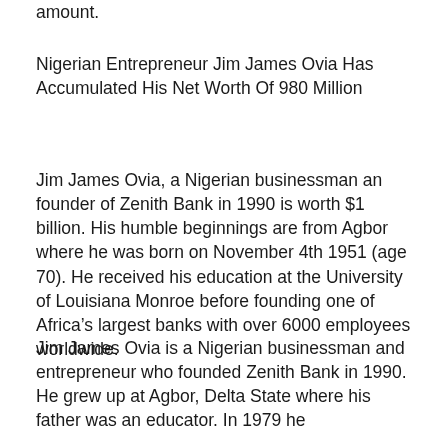amount.
Nigerian Entrepreneur Jim James Ovia Has Accumulated His Net Worth Of 980 Million
Jim James Ovia, a Nigerian businessman an founder of Zenith Bank in 1990 is worth $1 billion. His humble beginnings are from Agbor where he was born on November 4th 1951 (age 70). He received his education at the University of Louisiana Monroe before founding one of Africa’s largest banks with over 6000 employees worldwide.
Jim James Ovia is a Nigerian businessman and entrepreneur who founded Zenith Bank in 1990. He grew up at Agbor, Delta State where his father was an educator. In 1979 he